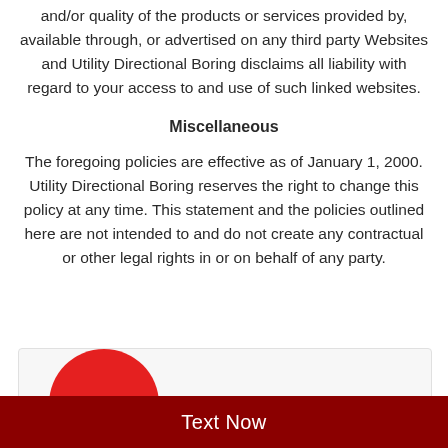and/or quality of the products or services provided by, available through, or advertised on any third party Websites and Utility Directional Boring disclaims all liability with regard to your access to and use of such linked websites.
Miscellaneous
The foregoing policies are effective as of January 1, 2000. Utility Directional Boring reserves the right to change this policy at any time. This statement and the policies outlined here are not intended to and do not create any contractual or other legal rights in or on behalf of any party.
[Figure (logo): Red circle logo partially visible at bottom of page within a light gray box]
Text Now